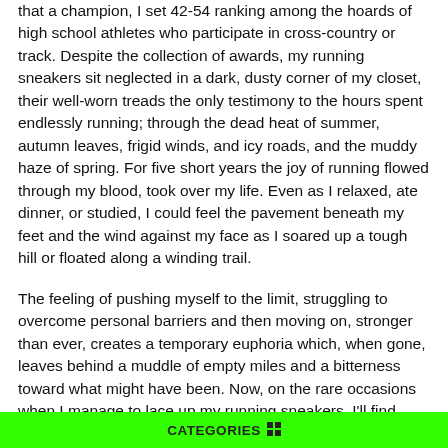that a champion, I set 42-54 ranking among the hoards of high school athletes who participate in cross-country or track. Despite the collection of awards, my running sneakers sit neglected in a dark, dusty corner of my closet, their well-worn treads the only testimony to the hours spent endlessly running; through the dead heat of summer, autumn leaves, frigid winds, and icy roads, and the muddy haze of spring. For five short years the joy of running flowed through my blood, took over my life. Even as I relaxed, ate dinner, or studied, I could feel the pavement beneath my feet and the wind against my face as I soared up a tough hill or floated along a winding trail.
The feeling of pushing myself to the limit, struggling to overcome personal barriers and then moving on, stronger than ever, creates a temporary euphoria which, when gone, leaves behind a muddle of empty miles and a bitterness toward what might have been. Now, on the rare occasions when I manage to lace up my running sneakers, I'll find myself plodding wearily along the road dismally wondering what
CATEGORIES